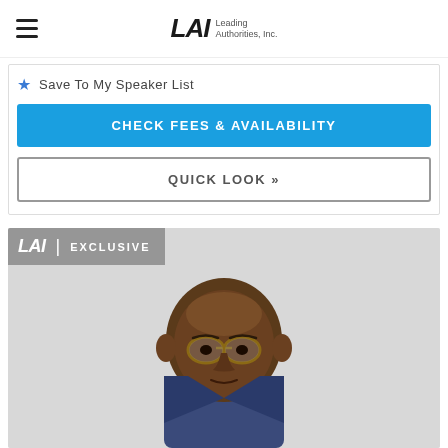LAI Leading Authorities, Inc.
Save To My Speaker List
CHECK FEES & AVAILABILITY
QUICK LOOK »
[Figure (photo): Portrait photo of a man in a blue blazer with glasses, on a gray background, with LAI EXCLUSIVE badge overlay]